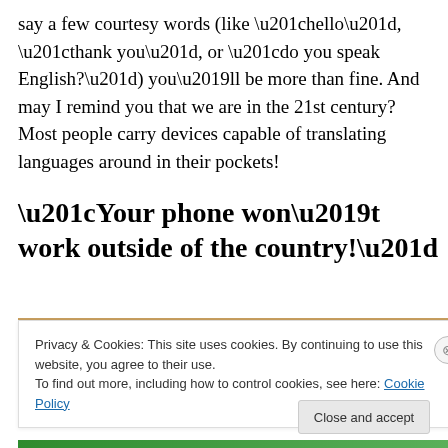say a few courtesy words (like “hello”, “thank you”, or “do you speak English?”) you’ll be more than fine. And may I remind you that we are in the 21st century? Most people carry devices capable of translating languages around in their pockets!
“Your phone won’t work outside of the country!”
[Figure (photo): Partial view of a photo strip showing blurred faces/people, partially obscured by cookie consent banner]
Privacy & Cookies: This site uses cookies. By continuing to use this website, you agree to their use.
To find out more, including how to control cookies, see here: Cookie Policy
Close and accept